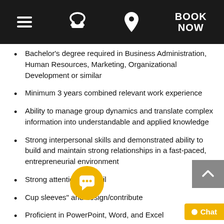Navigation bar with hamburger menu, phone icon, location icon, and BOOK NOW
Bachelor's degree required in Business Administration, Human Resources, Marketing, Organizational Development or similar
Minimum 3 years combined relevant work experience
Ability to manage group dynamics and translate complex information into understandable and applied knowledge
Strong interpersonal skills and demonstrated ability to build and maintain strong relationships in a fast-paced, entrepreneurial environment
Strong attention to detail
C[...]up sleeves" and design/contribute
Proficient in PowerPoint, Word, and Excel
Excellent presentation, facilitation, and verbal